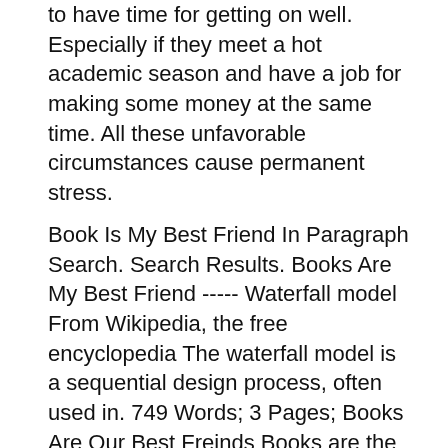to have time for getting on well. Especially if they meet a hot academic season and have a job for making some money at the same time. All these unfavorable circumstances cause permanent stress.
Book Is My Best Friend In Paragraph Search. Search Results. Books Are My Best Friend ----- Waterfall model From Wikipedia, the free encyclopedia The waterfall model is a sequential design process, often used in. 749 Words; 3 Pages; Books Are Our Best Freinds Books are the best friends, a human being can have. They are a great blessing. They are useful to us in many